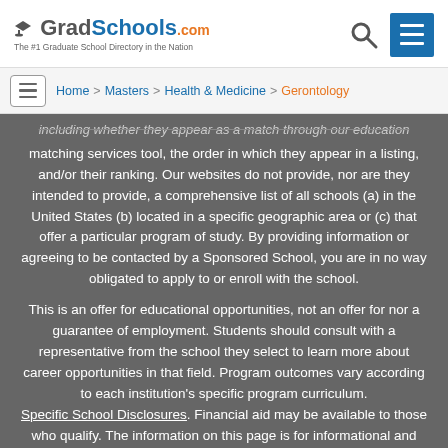GradSchools.com — The #1 Graduate School Directory in the Nation
Home > Masters > Health & Medicine > Gerontology
including whether they appear as a match through our education matching services tool, the order in which they appear in a listing, and/or their ranking. Our websites do not provide, nor are they intended to provide, a comprehensive list of all schools (a) in the United States (b) located in a specific geographic area or (c) that offer a particular program of study. By providing information or agreeing to be contacted by a Sponsored School, you are in no way obligated to apply to or enroll with the school.
This is an offer for educational opportunities, not an offer for nor a guarantee of employment. Students should consult with a representative from the school they select to learn more about career opportunities in that field. Program outcomes vary according to each institution's specific program curriculum. Specific School Disclosures. Financial aid may be available to those who qualify. The information on this page is for informational and research purposes only and is not an assurance of financial aid.